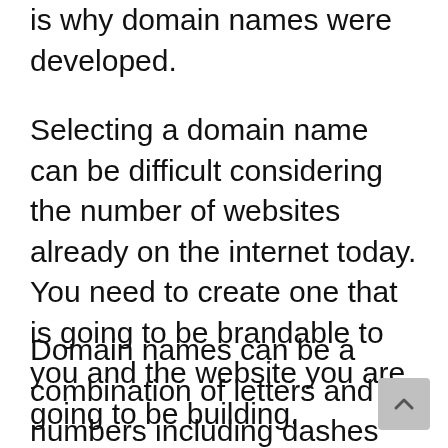is why domain names were developed.
Selecting a domain name can be difficult considering the number of websites already on the internet today. You need to create one that is going to be brandable to you and the website you are going to be building.
Domain names can be a combination of letters and numbers including dashes (these are not recommended) though like the numbers there are...